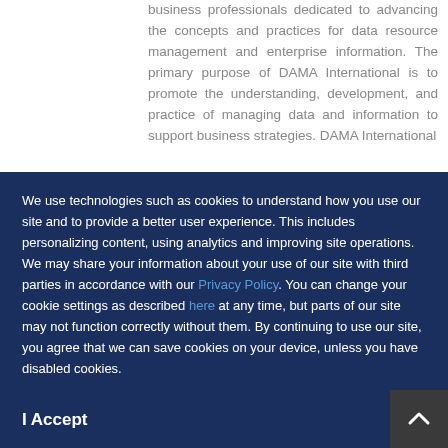business professionals dedicated to advancing the concepts and practices for data resource management and enterprise information. The primary purpose of DAMA International is to promote the understanding, development, and practice of managing data and information to support business strategies. DAMA International
We use technologies such as cookies to understand how you use our site and to provide a better user experience. This includes personalizing content, using analytics and improving site operations. We may share your information about your use of our site with third parties in accordance with our Privacy Policy. You can change your cookie settings as described here at any time, but parts of our site may not function correctly without them. By continuing to use our site, you agree that we can save cookies on your device, unless you have disabled cookies.
I Accept